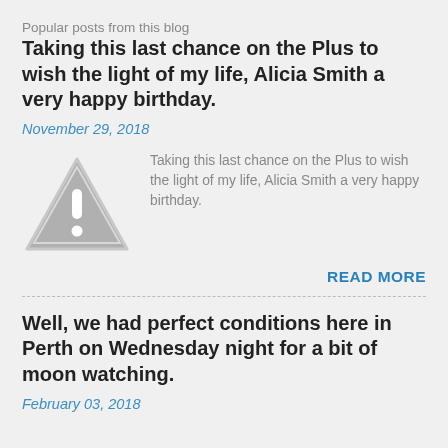Popular posts from this blog
Taking this last chance on the Plus to wish the light of my life, Alicia Smith a very happy birthday.
November 29, 2018
[Figure (illustration): Warning triangle icon with exclamation mark in gray]
Taking this last chance on the Plus to wish the light of my life, Alicia Smith a very happy birthday.
READ MORE
Well, we had perfect conditions here in Perth on Wednesday night for a bit of moon watching.
February 03, 2018